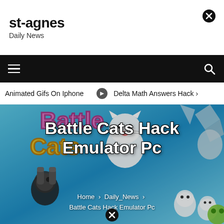st-agnes
Daily News
[Figure (screenshot): Navigation bar with hamburger menu on left and search icon on right, black background]
Animated Gifs On Iphone   ⊙ Delta Math Answers Hack
[Figure (photo): Battle Cats game promotional image with cartoon cats and game logo on blue background. Overlaid white bold text reads 'Battle Cats Hack Emulator Pc' with breadcrumb navigation: Home > Daily_News > Battle Cats Hack Emulator Pc]